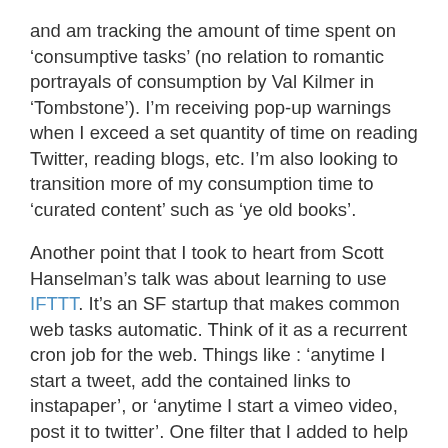and am tracking the amount of time spent on 'consumptive tasks' (no relation to romantic portrayals of consumption by Val Kilmer in 'Tombstone'). I'm receiving pop-up warnings when I exceed a set quantity of time on reading Twitter, reading blogs, etc. I'm also looking to transition more of my consumption time to 'curated content' such as 'ye old books'.
Another point that I took to heart from Scott Hanselman's talk was about learning to use IFTTT. It's an SF startup that makes common web tasks automatic. Think of it as a recurrent cron job for the web. Things like : 'anytime I start a tweet, add the contained links to instapaper', or 'anytime I start a vimeo video, post it to twitter'. One filter that I added to help with the Ruby Rogues Parley list is 'anytime I star a gmail message, copy the content into Evernote'... this should help easily archive good content for later viewing and recall ;).
Well, that's it for this round of production. I spent much of last night working on an internal web application for work